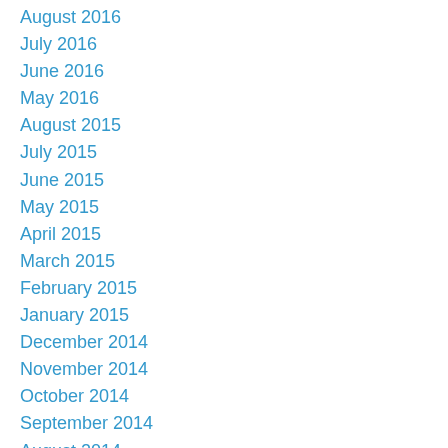August 2016
July 2016
June 2016
May 2016
August 2015
July 2015
June 2015
May 2015
April 2015
March 2015
February 2015
January 2015
December 2014
November 2014
October 2014
September 2014
August 2014
July 2014
June 2014
May 2014
April 2014